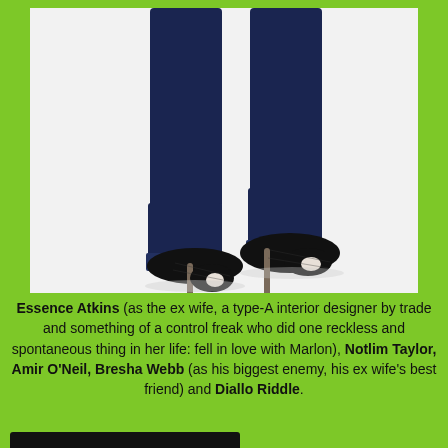[Figure (photo): Close-up photo of woman's legs wearing dark navy skinny jeans and black lace peep-toe high heel ankle boots, shown from knees down against a white background.]
Essence Atkins (as the ex wife, a type-A interior designer by trade and something of a control freak who did one reckless and spontaneous thing in her life: fell in love with Marlon), Notlim Taylor, Amir O'Neil, Bresha Webb (as his biggest enemy, his ex wife's best friend) and Diallo Riddle.